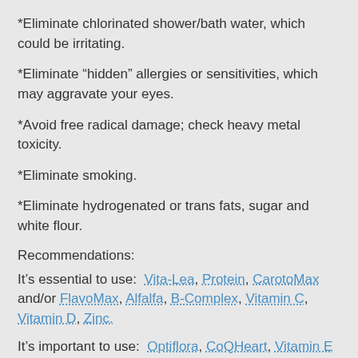*Eliminate chlorinated shower/bath water, which could be irritating.
*Eliminate “hidden” allergies or sensitivities, which may aggravate your eyes.
*Avoid free radical damage; check heavy metal toxicity.
*Eliminate smoking.
*Eliminate hydrogenated or trans fats, sugar and white flour.
Recommendations:
It’s essential to use: Vita-Lea, Protein, CarotoMax and/or FlavoMax, Alfalfa, B-Complex, Vitamin C, Vitamin D, Zinc.
It’s important to use: Optiflora, CoQHeart, Vitamin E